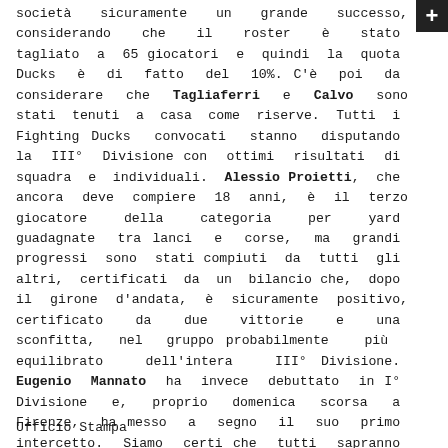società sicuramente un grande successo, considerando che il roster è stato tagliato a 65 giocatori e quindi la quota Ducks è di fatto del 10%. C'è poi da considerare che Tagliaferri e Calvo sono stati tenuti a casa come riserve. Tutti i Fighting Ducks convocati stanno disputando la IIIº Divisione con ottimi risultati di squadra e individuali. Alessio Proietti, che ancora deve compiere 18 anni, è il terzo giocatore della categoria per yard guadagnate tra lanci e corse, ma grandi progressi sono stati compiuti da tutti gli altri, certificati da un bilancio che, dopo il girone d'andata, è sicuramente positivo, certificato da due vittorie e una sconfitta, nel gruppo probabilmente più equilibrato dell'intera IIIº Divisione. Eugenio Mannato ha invece debuttato in Iº Divisione e, proprio domenica scorsa a Firenze, ha messo a segno il suo primo intercetto. Siamo certi che tutti sapranno interpretare il loro ruolo anche in maglia azzurra.
Ufficio Stampa